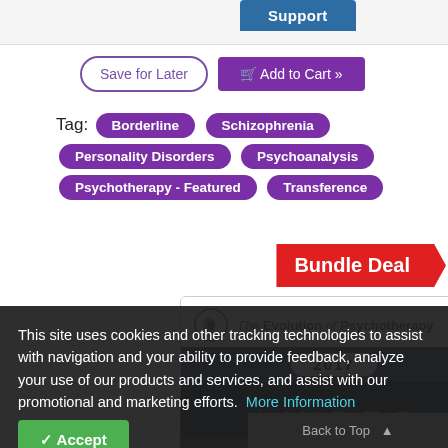Support
Save for Later  Add to Cart »
Tag: Borderline  Schizophrenia  Personality Disorders  Psychoanalysis  Psychotherapy - Featured  Transference
Bundle Deal
[Figure (other): Book product card showing 'The Evolution of Psychotherapy 2017' with logo and dark blue band]
This site uses cookies and other tracking technologies to assist with navigation and your ability to provide feedback, analyze your use of our products and services, and assist with our promotional and marketing efforts. More Information
Accept
VIDEO
Back to Top